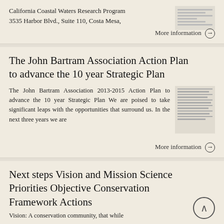California Coastal Waters Research Program
3535 Harbor Blvd., Suite 110, Costa Mesa,
More information →
The John Bartram Association Action Plan to advance the 10 year Strategic Plan
The John Bartram Association 2013-2015 Action Plan to advance the 10 year Strategic Plan We are poised to take significant leaps with the opportunities that surround us. In the next three years we are
More information →
Next steps Vision and Mission Science Priorities Objective Conservation Framework Actions
Vision: A conservation community, that while